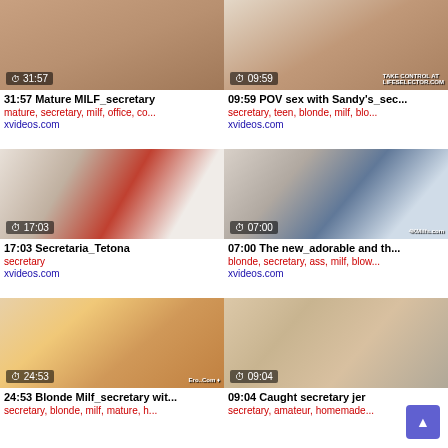[Figure (screenshot): Video thumbnail 1 with duration 31:57]
31:57 Mature MILF_secretary
mature, secretary, milf, office, co...
xvideos.com
[Figure (screenshot): Video thumbnail 2 with duration 09:59]
09:59 POV sex with Sandy's_sec...
secretary, teen, blonde, milf, blo...
xvideos.com
[Figure (screenshot): Video thumbnail 3 with duration 17:03]
17:03 Secretaria_Tetona
secretary
xvideos.com
[Figure (screenshot): Video thumbnail 4 with duration 07:00]
07:00 The new_adorable and th...
blonde, secretary, ass, milf, blow...
xvideos.com
[Figure (screenshot): Video thumbnail 5 with duration 24:53]
24:53 Blonde Milf_secretary wit...
secretary, blonde, milf, mature, h...
[Figure (screenshot): Video thumbnail 6 with duration 09:04]
09:04 Caught secretary jer
secretary, amateur, homemade...